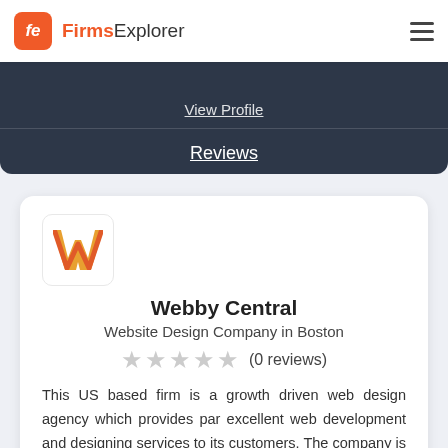FirmsExplorer
View Profile
Reviews
[Figure (logo): Webby Central logo — orange/red W shape on white rounded square background]
Webby Central
Website Design Company in Boston
★★★★★ (0 reviews)
This US based firm is a growth driven web design agency which provides par excellent web development and designing services to its customers. The company is further engaged in ensuring that the company undergoes proper training and has strong strategy value for branding and marketing. The company also